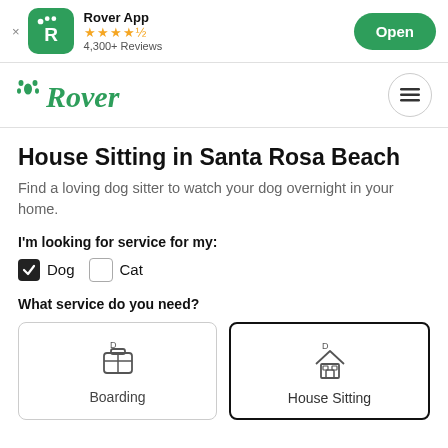Rover App — 4,300+ Reviews — Open
[Figure (logo): Rover app logo with green paw icon and R letter on green rounded square background, app name, star rating 4.5 stars, 4,300+ Reviews, Open button]
[Figure (logo): Rover brand logo in green cursive with paw print icon, hamburger menu button]
House Sitting in Santa Rosa Beach
Find a loving dog sitter to watch your dog overnight in your home.
I'm looking for service for my:
Dog (checked), Cat (unchecked)
What service do you need?
Boarding, House Sitting (selected)